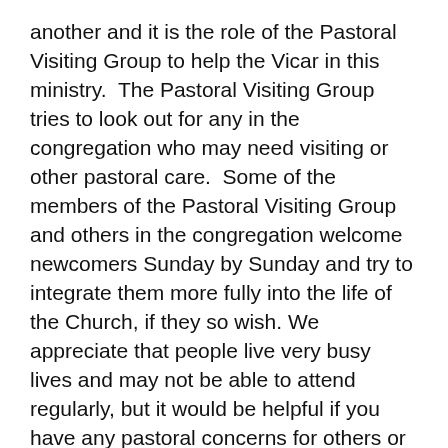another and it is the role of the Pastoral Visiting Group to help the Vicar in this ministry.  The Pastoral Visiting Group tries to look out for any in the congregation who may need visiting or other pastoral care.  Some of the members of the Pastoral Visiting Group and others in the congregation welcome newcomers Sunday by Sunday and try to integrate them more fully into the life of the Church, if they so wish. We appreciate that people live very busy lives and may not be able to attend regularly, but it would be helpful if you have any pastoral concerns for others or yourself, to let us know. We send pastoral cards on special occasions, happy or sad, but of course, we have to know about these in order to do so.
The members of the Pastoral Visiting Group are:
Carol Cain (10am), Julie Cavell(Choir and 10am), Ann Cottrell (MU and 10am), Carol Frost (LLM in training